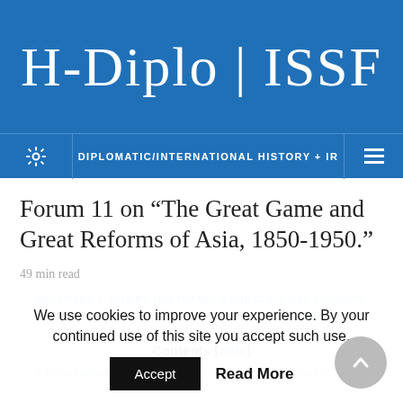H-Diplo | ISSF
DIPLOMATIC/INTERNATIONAL HISTORY + IR
Forum 11 on “The Great Game and Great Reforms of Asia, 1850-1950.” 49 min read
DECEMBER 1, 2015 BY JON THARES DAVIDSON, DAVID JOHNSON, JOHN E. VAN SANT, CYRUS VEESER, JON DAVIDANN
Contents [hide]
1 Introduction by Jon Thares Davidson, Hawai’i Pacific
We use cookies to improve your experience. By your continued use of this site you accept such use.
Accept   Read More